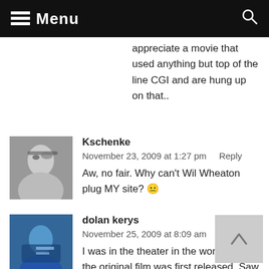Menu
appreciate a movie that used anything but top of the line CGI and are hung up on that..
Kschenke
November 23, 2009 at 1:27 pm   Reply
Aw, no fair. Why can’t Wil Wheaton plug MY site? 😐
dolan kerys
November 25, 2009 at 8:09 am   Reply
I was in the theater in the womb when the original film was first released. Saw all subsequent